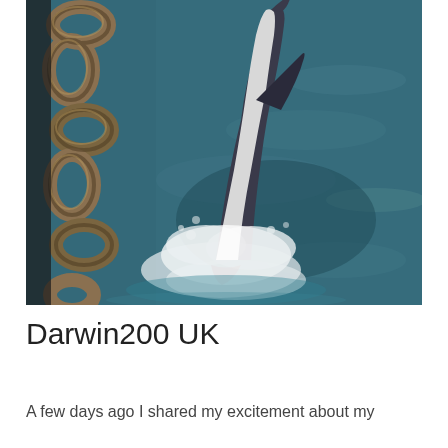[Figure (photo): A dolphin leaping out of dark blue-green ocean water next to a large rusty metal chain. White sea spray is visible beneath the dolphin. The photo is taken from a boat looking down at the water.]
Darwin200 UK
A few days ago I shared my excitement about my